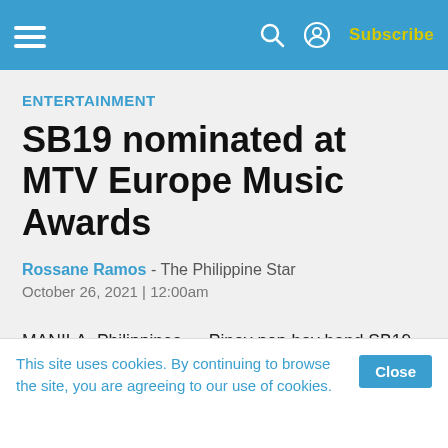Navigation bar with hamburger menu, search, user icon, Subscribe
ENTERTAINMENT
SB19 nominated at MTV Europe Music Awards
Rossane Ramos - The Philippine Star
October 26, 2021 | 12:00am
MANILA, Philippines — Pinoy pop boy band SB19 has b y
This site uses cookies. By continuing to browse the site, you are agreeing to our use of cookies.